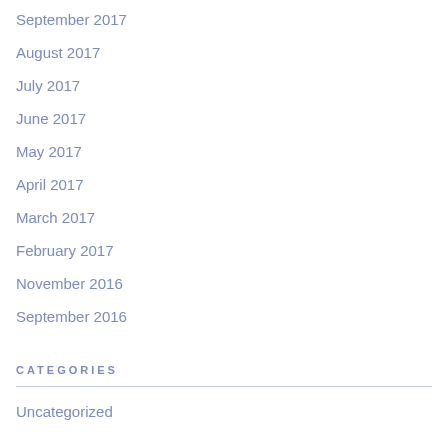September 2017
August 2017
July 2017
June 2017
May 2017
April 2017
March 2017
February 2017
November 2016
September 2016
CATEGORIES
Uncategorized